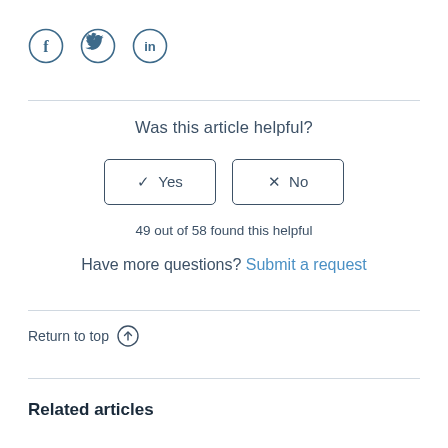[Figure (illustration): Three social media share icons in circle outlines: Facebook (f), Twitter (bird), LinkedIn (in)]
Was this article helpful?
✓ Yes | × No (buttons)
49 out of 58 found this helpful
Have more questions? Submit a request
Return to top ↑
Related articles